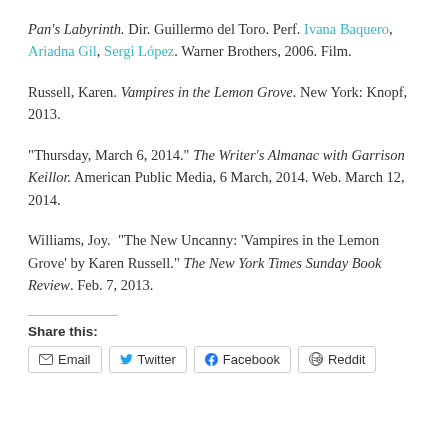Pan's Labyrinth. Dir. Guillermo del Toro. Perf. Ivana Baquero, Ariadna Gil, Sergi López. Warner Brothers, 2006. Film.
Russell, Karen. Vampires in the Lemon Grove. New York: Knopf, 2013.
"Thursday, March 6, 2014." The Writer's Almanac with Garrison Keillor. American Public Media, 6 March, 2014. Web. March 12, 2014.
Williams, Joy. "The New Uncanny: 'Vampires in the Lemon Grove' by Karen Russell." The New York Times Sunday Book Review. Feb. 7, 2013.
Share this:
Email  Twitter  Facebook  Reddit